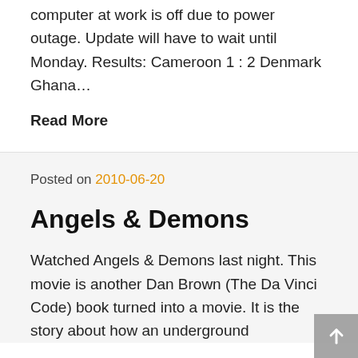computer at work is off due to power outage. Update will have to wait until Monday. Results: Cameroon 1 : 2 Denmark Ghana…
Read More
Posted on 2010-06-20
Angels & Demons
Watched Angels & Demons last night. This movie is another Dan Brown (The Da Vinci Code) book turned into a movie. It is the story about how an underground